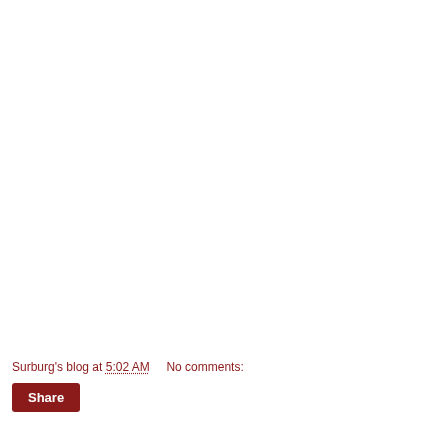Surburg's blog at 5:02 AM   No comments:
Share